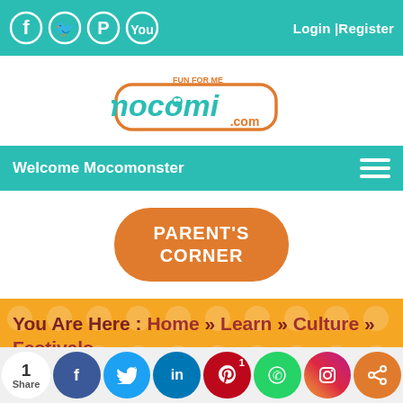[Figure (screenshot): Top teal navigation bar with social media icons (Facebook, Twitter, Pinterest, YouTube) and Login/Register links]
[Figure (logo): Mocomi.com logo - colorful kids educational website logo with 'FUN FOR ME' tagline]
Welcome Mocomonster
PARENT'S CORNER
You Are Here : Home » Learn » Culture » Festivals
CULTURE | FESTIVALS | LEARN
1 Share